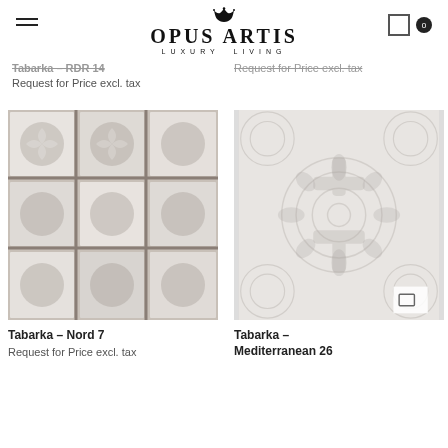OPUS ARTIS LUXURY LIVING
Tabarka – RDR 14
Request for Price excl. tax
Request for Price excl. tax
[Figure (photo): Tabarka – Nord 7 decorative tile pattern in grey and white]
Tabarka – Nord 7
Request for Price excl. tax
[Figure (photo): Tabarka – Mediterranean 26 decorative tile pattern in white and light grey]
Tabarka –
Mediterranean 26